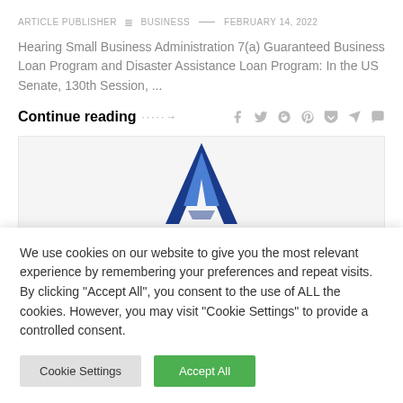ARTICLE PUBLISHER ≡ BUSINESS — FEBRUARY 14, 2022
Hearing Small Business Administration 7(a) Guaranteed Business Loan Program and Disaster Assistance Loan Program: In the US Senate, 130th Session, ...
Continue reading ····→
[Figure (logo): Blue triangular logo (letter A shape) on light gray background, partially cropped at bottom]
We use cookies on our website to give you the most relevant experience by remembering your preferences and repeat visits. By clicking "Accept All", you consent to the use of ALL the cookies. However, you may visit "Cookie Settings" to provide a controlled consent.